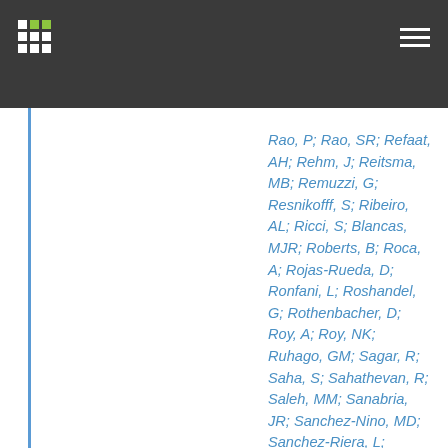Rao, P; Rao, SR; Refaat, AH; Rehm, J; Reitsma, MB; Remuzzi, G; Resnikofff, S; Ribeiro, AL; Ricci, S; Blancas, MJR; Roberts, B; Roca, A; Rojas-Rueda, D; Ronfani, L; Roshandel, G; Rothenbacher, D; Roy, A; Roy, NK; Ruhago, GM; Sagar, R; Saha, S; Sahathevan, R; Saleh, MM; Sanabria, JR; Sanchez-Nino, MD; Sanchez-Riera, L; Santos, IS; Sarmiento-Suarez, R; Sartorius, B; Satpathy, M; Savis...